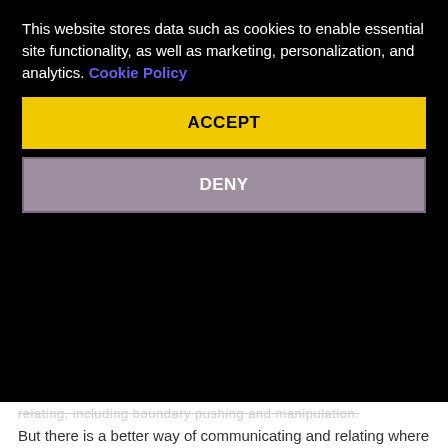This website stores data such as cookies to enable essential site functionality, as well as marketing, personalization, and analytics. Cookie Policy
ACCEPT
DENY
relating, including boundary pushing and manipulation. But there is a better way of communicating and relating where we are allowed to ask for what we want and to have boundaries. I really hope for a world where we can lead with kindness and honesty.
How can educators use Creating Consent Culture in a school setting?